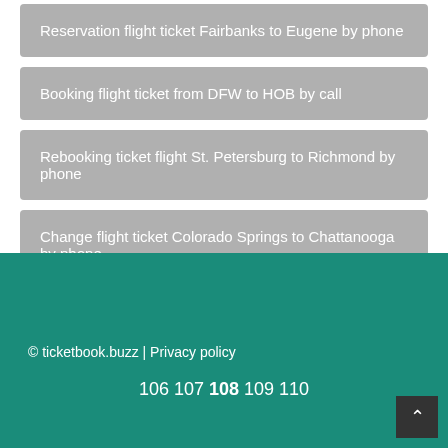Reservation flight ticket Fairbanks to Eugene by phone
Booking flight ticket from DFW to HOB by call
Rebooking ticket flight St. Petersburg to Richmond by phone
Change flight ticket Colorado Springs to Chattanooga by phone
© ticketbook.buzz | Privacy policy
106 107 108 109 110